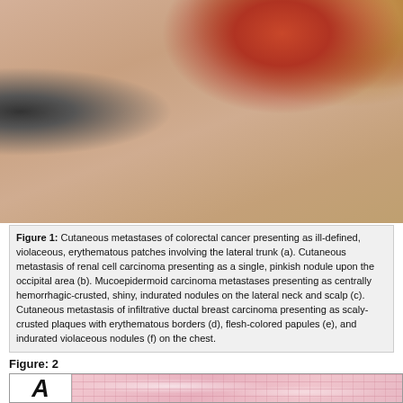[Figure (photo): Close-up clinical photograph of skin showing a hemorrhagic-crusted lesion with yellowish crust and erythematous border on pinkish skin, consistent with a cutaneous metastasis.]
Figure 1: Cutaneous metastases of colorectal cancer presenting as ill-defined, violaceous, erythematous patches involving the lateral trunk (a). Cutaneous metastasis of renal cell carcinoma presenting as a single, pinkish nodule upon the occipital area (b). Mucoepidermoid carcinoma metastases presenting as centrally hemorrhagic-crusted, shiny, indurated nodules on the lateral neck and scalp (c). Cutaneous metastasis of infiltrative ductal breast carcinoma presenting as scaly-crusted plaques with erythematous borders (d), flesh-colored papules (e), and indurated violaceous nodules (f) on the chest.
Figure: 2
[Figure (photo): Histological image (panel A) showing microscopic section of tissue with pink and white structures, consistent with hematoxylin and eosin stained tissue section of a cutaneous metastasis.]